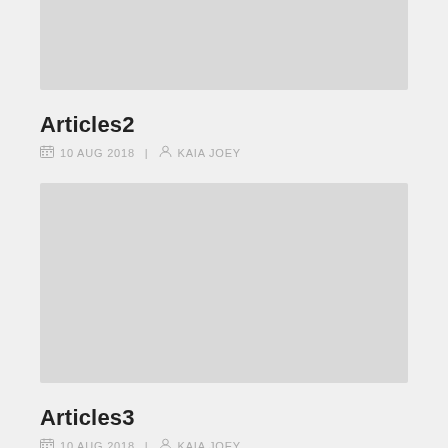[Figure (other): Gray placeholder image rectangle at top, partially visible]
Articles2
10 AUG 2018  |  KAIA JOEY
[Figure (other): Gray placeholder image rectangle, large]
Articles3
10 AUG 2018  |  KAIA JOEY